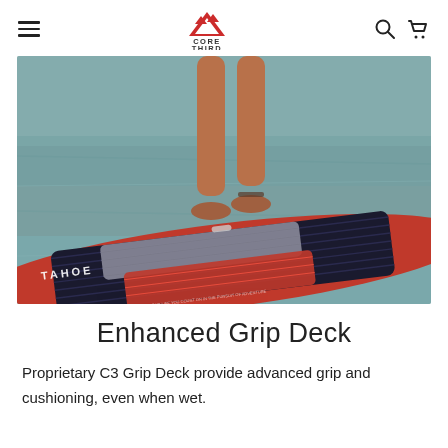Core Third — navigation header with hamburger menu, logo, search and cart icons
[Figure (photo): Person standing on a red and black TAHOE inflatable stand-up paddleboard (SUP) on water, showing the textured C3 Grip Deck surface]
Enhanced Grip Deck
Proprietary C3 Grip Deck provide advanced grip and cushioning, even when wet.